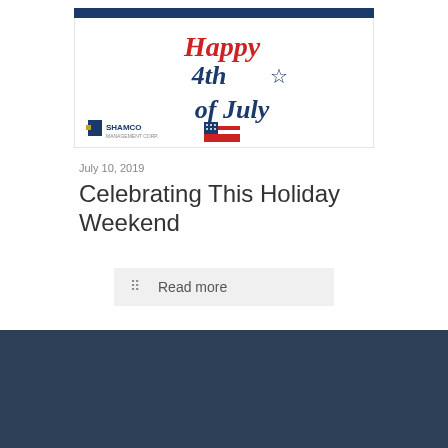[Figure (illustration): Happy 4th of July decorative card with Shamco Management Corp. logo. Blue header bar at top, red cursive 'Happy' text, dark blue '4th of July' script, a small US flag, and a star accent.]
July 10, 2019
Celebrating This Holiday Weekend
Read more
[Figure (logo): Shamco Management Corp. footer logo — green square icon with city silhouette, white SHAMCO text in large bold letters, MANAGEMENT CORP. subtitle in small caps. Dark navy/slate background.]